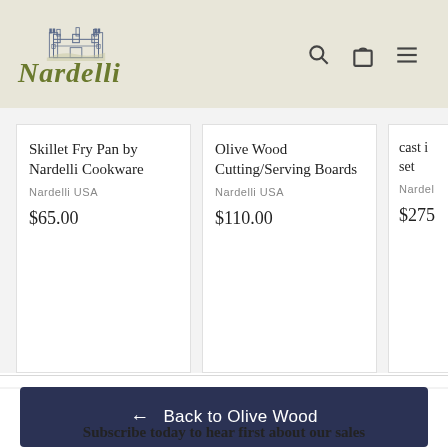[Figure (logo): Nardelli brand logo with castle illustration above italic serif text 'Nardelli' in olive green]
Skillet Fry Pan by Nardelli Cookware
Nardelli USA
$65.00
Olive Wood Cutting/Serving Boards
Nardelli USA
$110.00
cast i... set
Nardel...
$275
← Back to Olive Wood
Subscribe today to hear first about our sales